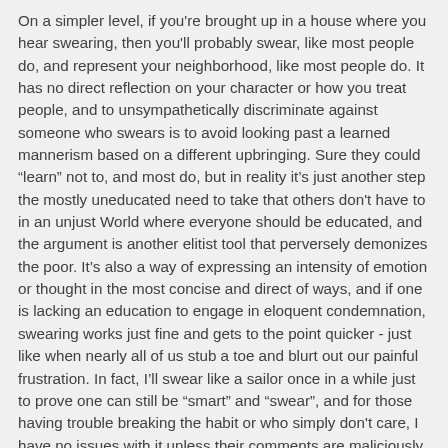On a simpler level, if you're brought up in a house where you hear swearing, then you'll probably swear, like most people do, and represent your neighborhood, like most people do. It has no direct reflection on your character or how you treat people, and to unsympathetically discriminate against someone who swears is to avoid looking past a learned mannerism based on a different upbringing. Sure they could “learn” not to, and most do, but in reality it’s just another step the mostly uneducated need to take that others don't have to in an unjust World where everyone should be educated, and the argument is another elitist tool that perversely demonizes the poor. It’s also a way of expressing an intensity of emotion or thought in the most concise and direct of ways, and if one is lacking an education to engage in eloquent condemnation, swearing works just fine and gets to the point quicker - just like when nearly all of us stub a toe and blurt out our painful frustration. In fact, I’ll swear like a sailor once in a while just to prove one can still be “smart” and “swear”, and for those having trouble breaking the habit or who simply don't care, I have no issues with it unless their comments are maliciously directed at me or anyone else for bad reasons.